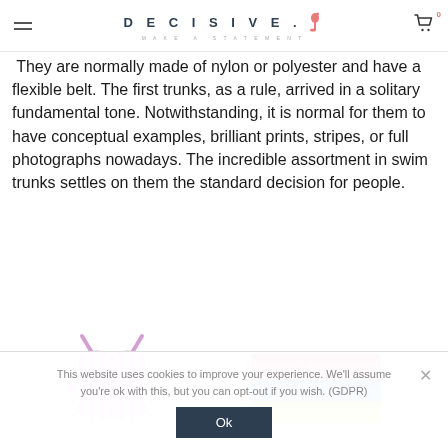DECISIVE. MAKE A STATEMENT
They are normally made of nylon or polyester and have a flexible belt. The first trunks, as a rule, arrived in a solitary fundamental tone. Notwithstanding, it is normal for them to have conceptual examples, brilliant prints, stripes, or full photographs nowadays. The incredible assortment in swim trunks settles on them the standard decision for people.
[Figure (photo): Two swimwear product images: left shows a pink and white striped bikini top, right shows a stack of colorful swim trunks in pink, blue, and yellow]
This website uses cookies to improve your experience. We'll assume you're ok with this, but you can opt-out if you wish. (GDPR)
Ok